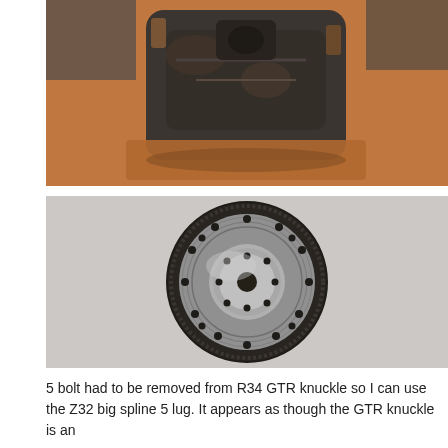[Figure (photo): Photo of a disassembled automotive knuckle/hub component, dark metallic part with rust and grime, placed on an orange/brown surface.]
[Figure (photo): Photo of a flywheel (circular disc with gear teeth around the perimeter and bolt holes), placed on a light grey cloth/material. The flywheel appears to be a Z32 or GTR unit with a machined face.]
5 bolt had to be removed from R34 GTR knuckle so I can use the Z32 big spline 5 lug. It appears as though the GTR knuckle is an